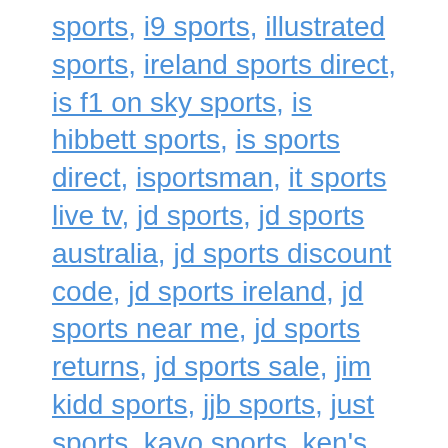sports, i9 sports, illustrated sports, ireland sports direct, is f1 on sky sports, is hibbett sports, is sports direct, isportsman, it sports live tv, jd sports, jd sports australia, jd sports discount code, jd sports ireland, jd sports near me, jd sports returns, jd sports sale, jim kidd sports, jjb sports, just sports, kayo sports, ken's sports, kentucky sports radio,
We use cookies on our website to give you the most relevant experience by remembering your preferences and repeat visits. By clicking “Accept All”, you consent to the use of ALL the cookies. However, you may visit "Cookie Settings" to provide a controlled consent.